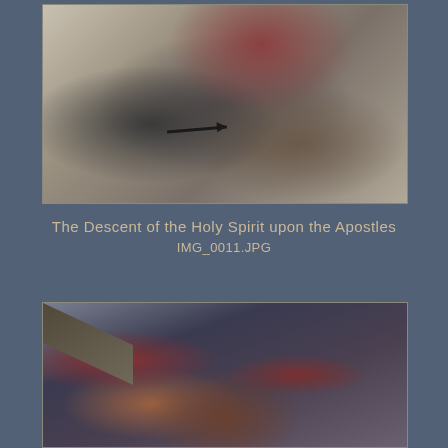[Figure (photo): Ancient fresco photograph showing The Descent of the Holy Spirit upon the Apostles, deteriorated wall painting with muted tones of gray, beige and red, with a black arrow annotation visible in the center]
The Descent of the Holy Spirit upon the Apostles
IMG_0011.JPG
[Figure (photo): Ancient fresco photograph showing a deteriorated wall painting with figures in red robes, dark background tones, with a wooden beam visible in the upper left corner]